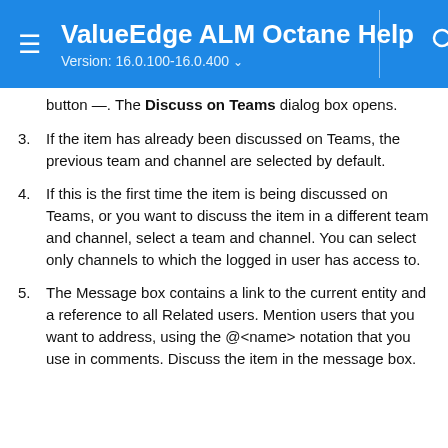ValueEdge ALM Octane Help
Version: 16.0.100-16.0.400
button —. The Discuss on Teams dialog box opens.
3. If the item has already been discussed on Teams, the previous team and channel are selected by default.
4. If this is the first time the item is being discussed on Teams, or you want to discuss the item in a different team and channel, select a team and channel. You can select only channels to which the logged in user has access to.
5. The Message box contains a link to the current entity and a reference to all Related users. Mention users that you want to address, using the @<name> notation that you use in comments. Discuss the item in the message box.